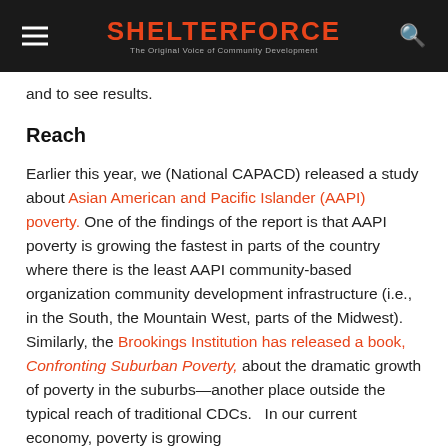SHELTERFORCE — The Original Voice of Community Development
and to see results.
Reach
Earlier this year, we (National CAPACD) released a study about Asian American and Pacific Islander (AAPI) poverty. One of the findings of the report is that AAPI poverty is growing the fastest in parts of the country where there is the least AAPI community-based organization community development infrastructure (i.e., in the South, the Mountain West, parts of the Midwest). Similarly, the Brookings Institution has released a book, Confronting Suburban Poverty, about the dramatic growth of poverty in the suburbs—another place outside the typical reach of traditional CDCs.  In our current economy, poverty is growing